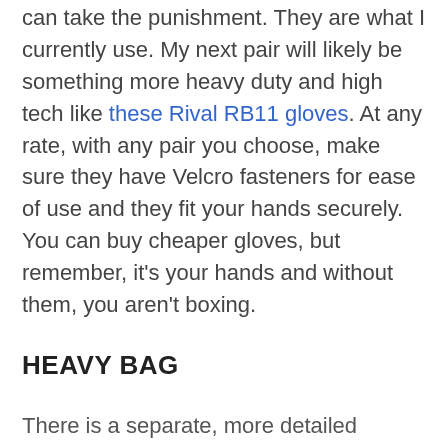can take the punishment. They are what I currently use. My next pair will likely be something more heavy duty and high tech like these Rival RB11 gloves. At any rate, with any pair you choose, make sure they have Velcro fasteners for ease of use and they fit your hands securely. You can buy cheaper gloves, but remember, it's your hands and without them, you aren't boxing.
HEAVY BAG
There is a separate, more detailed